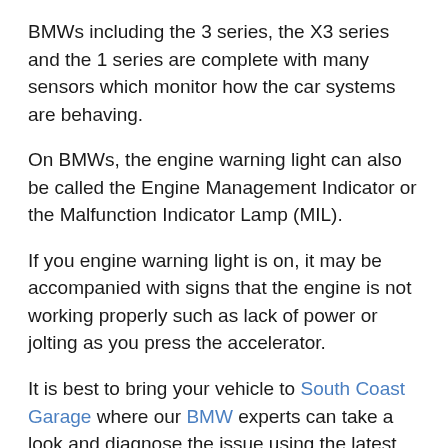BMWs including the 3 series, the X3 series and the 1 series are complete with many sensors which monitor how the car systems are behaving.
On BMWs, the engine warning light can also be called the Engine Management Indicator or the Malfunction Indicator Lamp (MIL).
If you engine warning light is on, it may be accompanied with signs that the engine is not working properly such as lack of power or jolting as you press the accelerator.
It is best to bring your vehicle to South Coast Garage where our BMW experts can take a look and diagnose the issue using the latest main dealer BMW diagnostic equipment.
About South Coast Garage